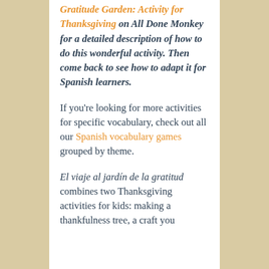Gratitude Garden: Activity for Thanksgiving on All Done Monkey for a detailed description of how to do this wonderful activity. Then come back to see how to adapt it for Spanish learners.
If you're looking for more activities for specific vocabulary, check out all our Spanish vocabulary games grouped by theme.
El viaje al jardín de la gratitud combines two Thanksgiving activities for kids: making a thankfulness tree, a craft you